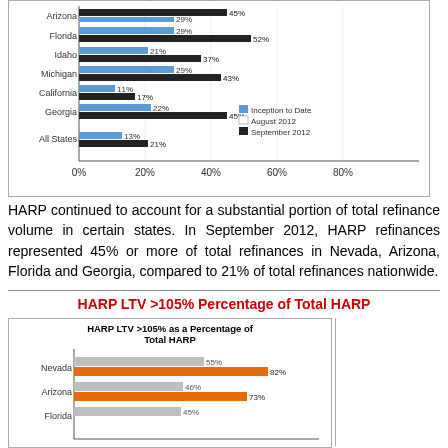[Figure (grouped-bar-chart): HARP as a Percentage of Total Refinances by State]
HARP continued to account for a substantial portion of total refinance volume in certain states. In September 2012, HARP refinances represented 45% or more of total refinances in Nevada, Arizona, Florida and Georgia, compared to 21% of total refinances nationwide.
HARP LTV >105% Percentage of Total HARP
[Figure (grouped-bar-chart): HARP LTV >105% as a Percentage of Total HARP]